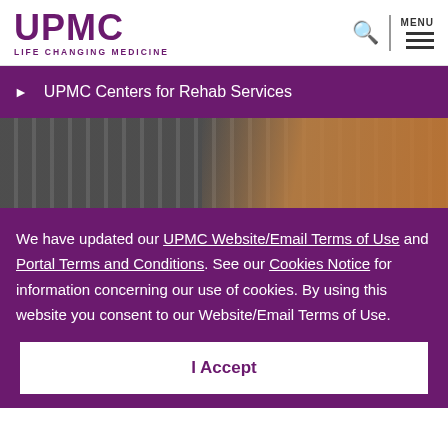UPMC LIFE CHANGING MEDICINE
UPMC Centers for Rehab Services
[Figure (photo): Hands typing on a laptop keyboard, with one hand in a yellow/ochre sleeve visible on the right]
We have updated our UPMC Website/Email Terms of Use and Portal Terms and Conditions. See our Cookies Notice for information concerning our use of cookies. By using this website you consent to our Website/Email Terms of Use.
I Accept